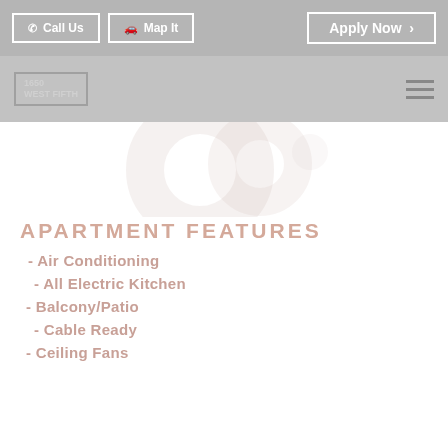Call Us  Map It  Apply Now >
[Figure (logo): 1650 West Fifth apartment logo in bordered box, with hamburger menu icon on the right]
[Figure (other): Faded decorative circular/ring shapes in light pinkish-gray on white background]
APARTMENT FEATURES
- Air Conditioning
- All Electric Kitchen
- Balcony/Patio
- Cable Ready
- Ceiling Fans